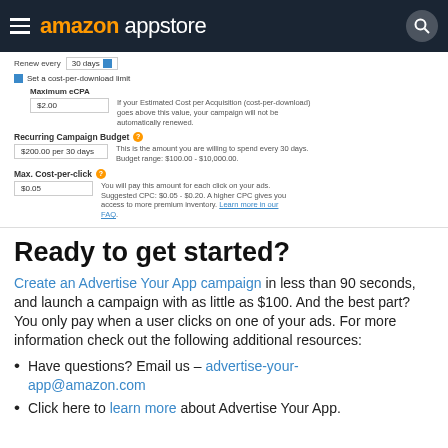amazon appstore
[Figure (screenshot): Amazon Appstore form showing Renew every 30 days, Set a cost-per-download limit checkbox, Maximum eCPA $2.00, Recurring Campaign Budget $200.00 per 30 days, Max. Cost-per-click $0.05 fields with helper text]
Ready to get started?
Create an Advertise Your App campaign in less than 90 seconds, and launch a campaign with as little as $100. And the best part? You only pay when a user clicks on one of your ads. For more information check out the following additional resources:
Have questions? Email us – advertise-your-app@amazon.com
Click here to learn more about Advertise Your App.